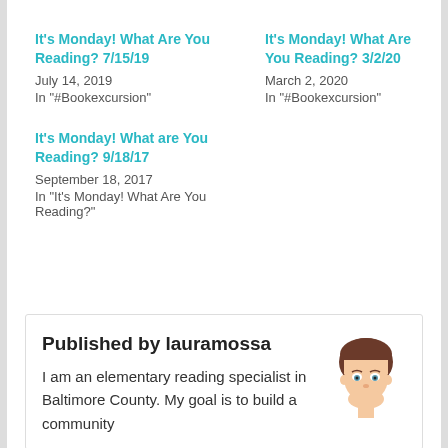It's Monday! What Are You Reading? 7/15/19
July 14, 2019
In "#Bookexcursion"
It's Monday! What Are You Reading? 3/2/20
March 2, 2020
In "#Bookexcursion"
It's Monday! What are You Reading? 9/18/17
September 18, 2017
In "It's Monday! What Are You Reading?"
Published by lauramossa
I am an elementary reading specialist in Baltimore County. My goal is to build a community